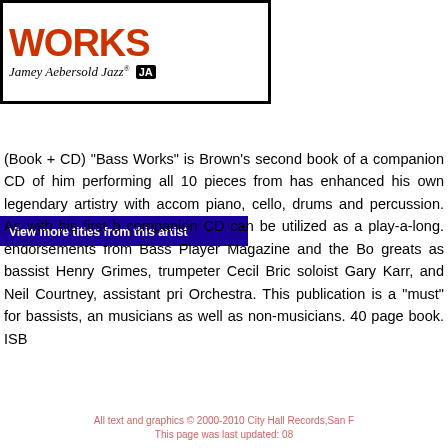[Figure (logo): Bass Works logo with Jamey Aebersold Jazz branding]
View more titles from this artist
(Book + CD) "Bass Works" is Brown's second book of a companion CD of him performing all 10 pieces from has enhanced his own legendary artistry with accom piano, cello, drums and percussion. As with his first companion CD can be utilized as a play-a-long. endorsements from Bass Player Magazine and the Bo greats as bassist Henry Grimes, trumpeter Cecil Bri soloist Gary Karr, and Neil Courtney, assistant pri Orchestra. This publication is a "must" for bassists, a musicians as well as non-musicians. 40 page book. ISB
Release Format:
All text and graphics © 2000-2010 City Hall Records,San F
This page was last updated: 08